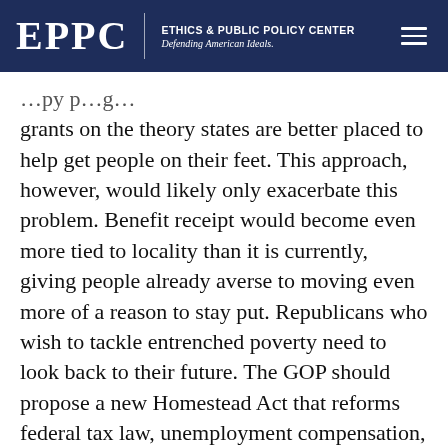EPPC | ETHICS & PUBLIC POLICY CENTER Defending American Ideals.
grants on the theory states are better placed to help get people on their feet. This approach, however, would likely only exacerbate this problem. Benefit receipt would become even more tied to locality than it is currently, giving people already averse to moving even more of a reason to stay put. Republicans who wish to tackle entrenched poverty need to look back to their future. The GOP should propose a new Homestead Act that reforms federal tax law, unemployment compensation, income-support efforts and welfare programs to encourage worker mobility.